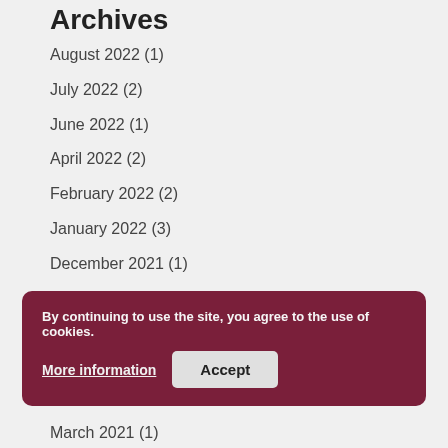Archives
August 2022 (1)
July 2022 (2)
June 2022 (1)
April 2022 (2)
February 2022 (2)
January 2022 (3)
December 2021 (1)
November 2021 (5)
October 2021 (1)
By continuing to use the site, you agree to the use of cookies. More information Accept
March 2021 (1)